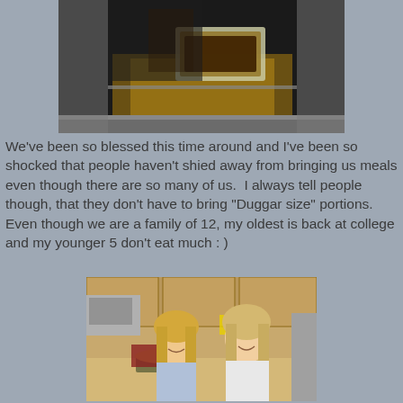[Figure (photo): Person placing a foil pan into an oven]
We've been so blessed this time around and I've been so shocked that people haven't shied away from bringing us meals even though there are so many of us.  I always tell people though, that they don't have to bring "Duggar size" portions.  Even though we are a family of 12, my oldest is back at college and my younger 5 don't eat much : )
[Figure (photo): Two smiling women in a kitchen, one holding a round cake or dish with oven mitts, wooden cabinets in background]